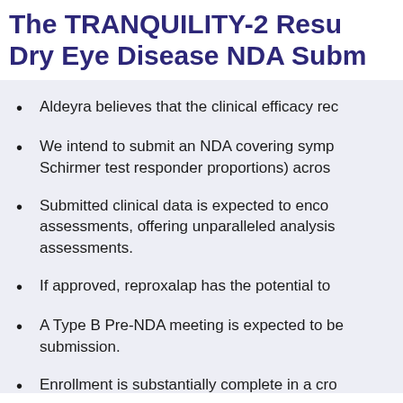The TRANQUILITY-2 Results Support Dry Eye Disease NDA Submission
Aldeyra believes that the clinical efficacy rec...
We intend to submit an NDA covering symp... Schirmer test responder proportions) acros...
Submitted clinical data is expected to encom... assessments, offering unparalleled analysis... assessments.
If approved, reproxalap has the potential to...
A Type B Pre-NDA meeting is expected to be... submission.
Enrollment is substantially complete in a cro...